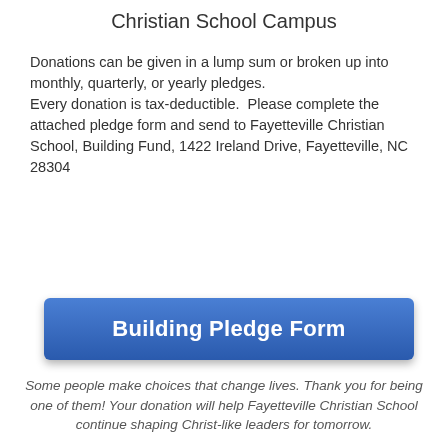Christian School Campus
Donations can be given in a lump sum or broken up into monthly, quarterly, or yearly pledges.
Every donation is tax-deductible.  Please complete the attached pledge form and send to Fayetteville Christian School, Building Fund, 1422 Ireland Drive, Fayetteville, NC 28304
[Figure (other): Blue rectangular button labeled 'Building Pledge Form']
Some people make choices that change lives. Thank you for being one of them! Your donation will help Fayetteville Christian School continue shaping Christ-like leaders for tomorrow.
[Figure (screenshot): Gray image area at bottom with blue circular button showing three dots]